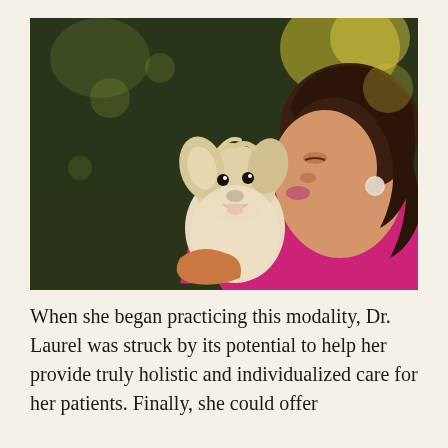[Figure (photo): A woman in a pink/magenta sweater kissing a small white fluffy dog (appears to be a Yorkshire Terrier or Maltese mix) that she is holding up. The background shows a garden or outdoor area with dark green grass and warm sunlight.]
When she began practicing this modality, Dr. Laurel was struck by its potential to help her provide truly holistic and individualized care for her patients. Finally, she could offer